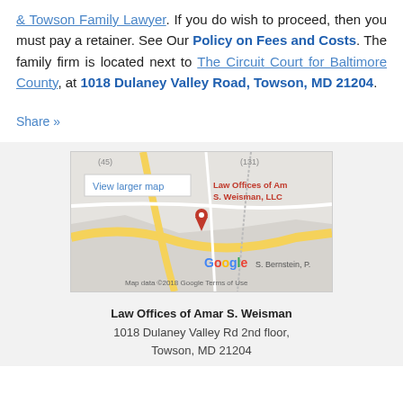& Towson Family Lawyer. If you do wish to proceed, then you must pay a retainer. See Our Policy on Fees and Costs. The family firm is located next to The Circuit Court for Baltimore County, at 1018 Dulaney Valley Road, Towson, MD 21204.
Share »
[Figure (map): Google Map showing location of Law Offices of Amar S. Weisman, LLC with a red pin marker and View larger map button. Map data ©2018 Google. Terms of Use.]
Law Offices of Amar S. Weisman
1018 Dulaney Valley Rd 2nd floor, Towson, MD 21204